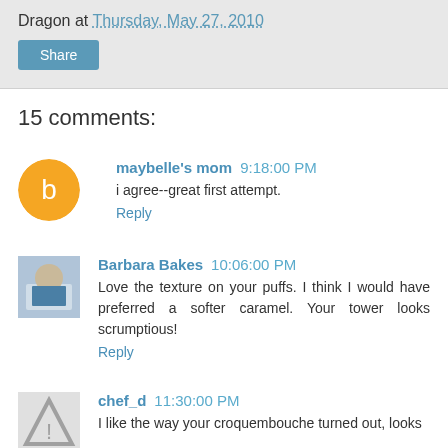Dragon at Thursday, May 27, 2010
15 comments:
maybelle's mom 9:18:00 PM
i agree--great first attempt.
Reply
Barbara Bakes 10:06:00 PM
Love the texture on your puffs. I think I would have preferred a softer caramel. Your tower looks scrumptious!
Reply
chef_d 11:30:00 PM
I like the way your croquembouche turned out, looks